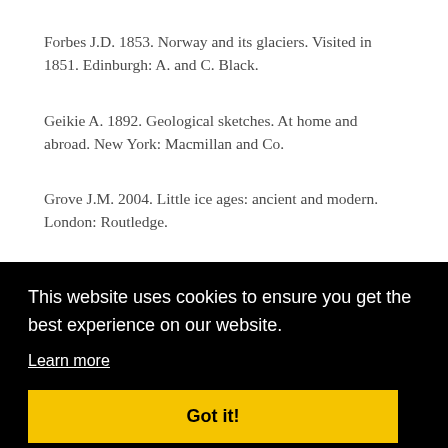Forbes J.D. 1853. Norway and its glaciers. Visited in 1851. Edinburgh: A. and C. Black.
Geikie A. 1892. Geological sketches. At home and abroad. New York: Macmillan and Co.
Grove J.M. 2004. Little ice ages: ancient and modern. London: Routledge.
This website uses cookies to ensure you get the best experience on our website.
Learn more
Got it!
…eries
…l H., …A.B., …orge
2100. (Climate in Norway 2100.) NCCS report 2/2015. Oslo: